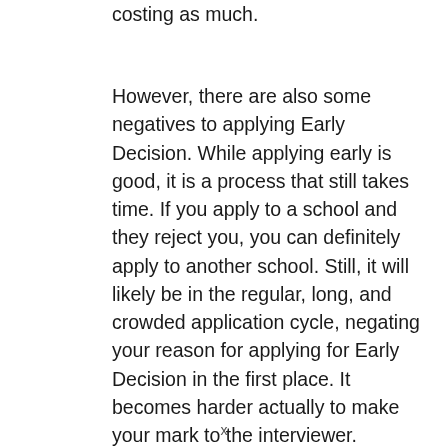costing as much.
However, there are also some negatives to applying Early Decision. While applying early is good, it is a process that still takes time. If you apply to a school and they reject you, you can definitely apply to another school. Still, it will likely be in the regular, long, and crowded application cycle, negating your reason for applying for Early Decision in the first place. It becomes harder actually to make your mark to the interviewer. Applying for Early Decision is a considerable risk if you are not entirely
x